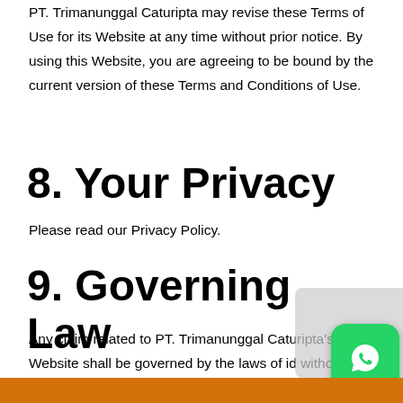PT. Trimanunggal Caturipta may revise these Terms of Use for its Website at any time without prior notice. By using this Website, you are agreeing to be bound by the current version of these Terms and Conditions of Use.
8. Your Privacy
Please read our Privacy Policy.
9. Governing Law
Any claim related to PT. Trimanunggal Caturipta's Website shall be governed by the laws of id without regards to its conflict of law provisions.